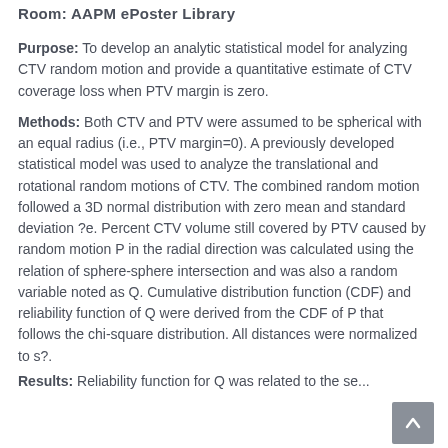Room: AAPM ePoster Library
Purpose: To develop an analytic statistical model for analyzing CTV random motion and provide a quantitative estimate of CTV coverage loss when PTV margin is zero.
Methods: Both CTV and PTV were assumed to be spherical with an equal radius (i.e., PTV margin=0). A previously developed statistical model was used to analyze the translational and rotational random motions of CTV. The combined random motion followed a 3D normal distribution with zero mean and standard deviation ?e. Percent CTV volume still covered by PTV caused by random motion P in the radial direction was calculated using the relation of sphere-sphere intersection and was also a random variable noted as Q. Cumulative distribution function (CDF) and reliability function of Q were derived from the CDF of P that follows the chi-square distribution. All distances were normalized to s?.
Results: Reliability function for Q was...